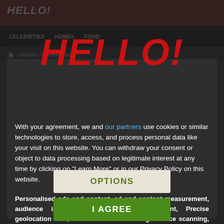[Figure (screenshot): HELLO! magazine website screenshot showing navigation bar with CELEBRITIES, HOMES, FOOD categories and a breadcrumb showing Fashion > Celebrity Style, with darkened background content]
[Figure (logo): HELLO! magazine logo in large red bold italic text centered in modal overlay]
With your agreement, we and our partners use cookies or similar technologies to store, access, and process personal data like your visit on this website. You can withdraw your consent or object to data processing based on legitimate interest at any time by clicking on "Learn More" or in our Privacy Policy on this website.
Personalised ads and content, ad and content measurement, audience insights and product development, Precise geolocation data, and identification through device scanning, Store and/or access information on a device
OPTIONS
I AGREE